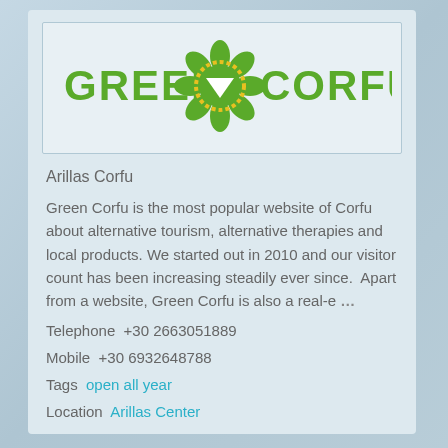[Figure (logo): Green Corfu logo: green decorative mandala/flower frame with white triangle inside, flanked by 'GREEN' and 'CORFU' text in green on white/light background]
Arillas Corfu
Green Corfu is the most popular website of Corfu about alternative tourism, alternative therapies and local products. We started out in 2010 and our visitor count has been increasing steadily ever since. Apart from a website, Green Corfu is also a real-e …
Telephone  +30 2663051889
Mobile  +30 6932648788
Tags  open all year
Location  Arillas Center